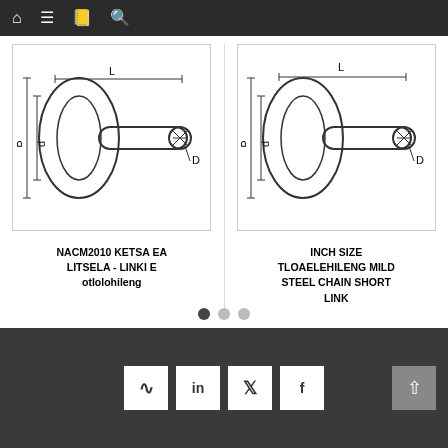Navigation bar with home, menu, book, and search icons
[Figure (engineering-diagram): Technical drawing of a chain short link with dimension labels L, B, d, D showing side profile view]
NACM2010 KETSA EA LITSELA - LINKI E otlolohileng
[Figure (engineering-diagram): Technical drawing of an inch size mild steel chain short link with dimension labels L, B, d, D showing side profile view]
INCH SIZE TLOAELEHILENG MILD STEEL CHAIN SHORT LINK
Social media icons: RSS, LinkedIn, Twitter, Facebook. Back to top button.